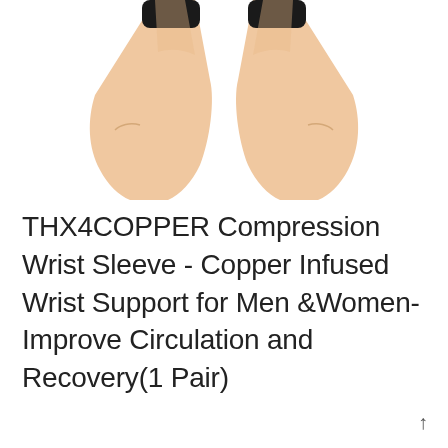[Figure (photo): Two human arms with black compression wrist sleeves on the wrists, elbows bent upward against white background]
THX4COPPER Compression Wrist Sleeve - Copper Infused Wrist Support for Men &Women-Improve Circulation and Recovery(1 Pair)